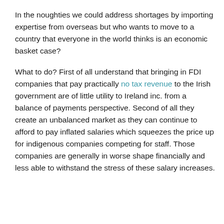In the noughties we could address shortages by importing expertise from overseas but who wants to move to a country that everyone in the world thinks is an economic basket case?
What to do? First of all understand that bringing in FDI companies that pay practically no tax revenue to the Irish government are of little utility to Ireland inc. from a balance of payments perspective. Second of all they create an unbalanced market as they can continue to afford to pay inflated salaries which squeezes the price up for indigenous companies competing for staff. Those companies are generally in worse shape financially and less able to withstand the stress of these salary increases.